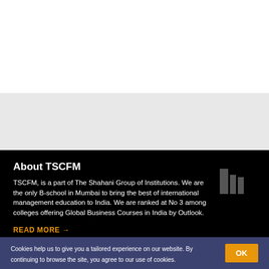[Figure (illustration): White top section and gray mid section representing a website banner/hero area]
About TSCFM
TSCFM, is a part of The Shahani Group of Institutions. We are the only B-school in Mumbai to bring the best of international management education to India. We are ranked at No 3 among colleges offering Global Business Courses in India by Outlook.
READ MORE →
Cookies help us to give you a tailored experience on our website. By continuing to browse the site, you agree to our use of cookies.